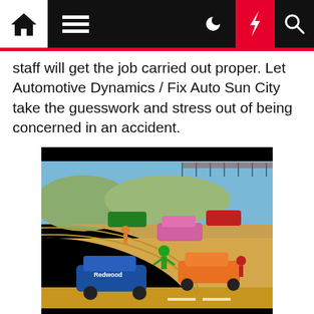[Navigation bar with home, menu, moon, bolt, and search icons]
staff will get the job carried out proper. Let Automotive Dynamics / Fix Auto Sun City take the guesswork and stress out of being concerned in an accident.
[Figure (photo): A video game screenshot showing multiple colorful cars and characters on a large skateboard ramp/halfpipe in GTA-style graphics. Cars include a blue muscle car labeled 'Redwood', an orange sports car, a pink car, and others. Characters in superhero costumes stand around the ramp.]
The firm's former CTO, Mujeeb Ijaz, is one of Apple's highest profile hires. Ijaz led a group answerable for